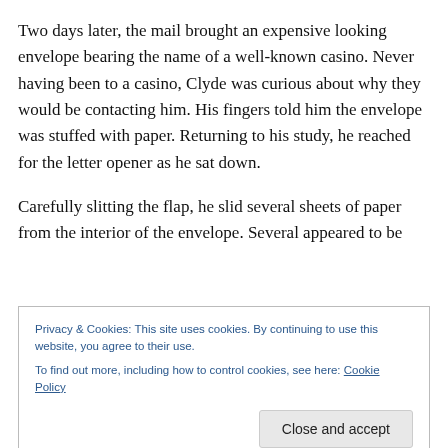Two days later, the mail brought an expensive looking envelope bearing the name of a well-known casino. Never having been to a casino, Clyde was curious about why they would be contacting him. His fingers told him the envelope was stuffed with paper. Returning to his study, he reached for the letter opener as he sat down.
Carefully slitting the flap, he slid several sheets of paper from the interior of the envelope. Several appeared to be
Privacy & Cookies: This site uses cookies. By continuing to use this website, you agree to their use.
To find out more, including how to control cookies, see here: Cookie Policy
Close and accept
Turning to the other sheets, all the while muttering to